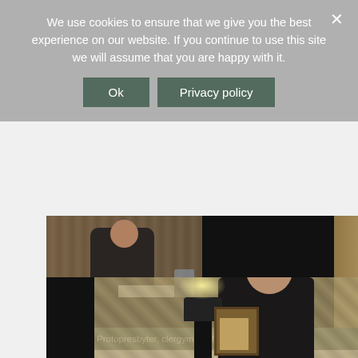We use cookies to ensure that we give you the best experience on our website. If you continue to use this site we will assume that you are happy with it.
[Figure (other): Cookie banner Ok button]
[Figure (other): Cookie banner Privacy policy button]
[Figure (photo): Photo of a man in a dark suit sitting at a conference table with papers and a water bottle, with ornate room decor in the background and a dark backdrop to the right]
Reverend Protopresbyter, clergyman of Patriarchate of Bulgaria
[Figure (photo): Photo of a bearded man in dark clerical clothing sitting in an ornate room with patterned wallpaper, a lamp and icon visible in the background]